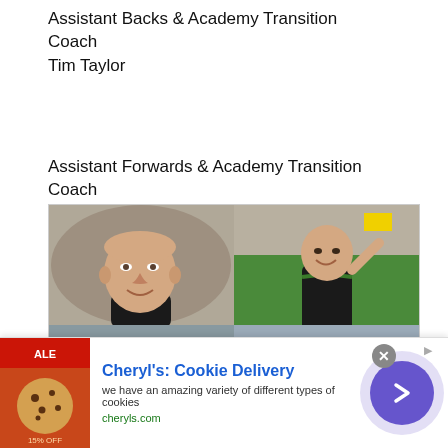Assistant Backs & Academy Transition Coach
Tim Taylor
Assistant Forwards & Academy Transition Coach
Trevor Woodman
[Figure (photo): A 2x2 grid of four photos: top-left shows a bald man in a black t-shirt smiling outdoors; top-right shows a stocky man in a black sports top with arm raised at a stadium; bottom-left shows a man with a beard in a light blue rugby shirt; bottom-right shows two men in light blue rugby shirts, one also wearing a red polo.]
[Figure (screenshot): Advertisement banner for Cheryl's Cookie Delivery with image of cookies on the left, headline text in blue, body text, green URL, and a purple circular arrow button on the right.]